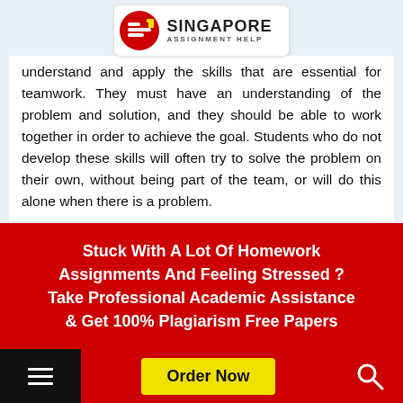[Figure (logo): Singapore Assignment Help logo with red circular icon and text]
understand and apply the skills that are essential for teamwork. They must have an understanding of the problem and solution, and they should be able to work together in order to achieve the goal. Students who do not develop these skills will often try to solve the problem on their own, without being part of the team, or will do this alone when there is a problem.
Stuck With A Lot Of Homework Assignments And Feeling Stressed ? Take Professional Academic Assistance & Get 100% Plagiarism Free Papers
Order Now